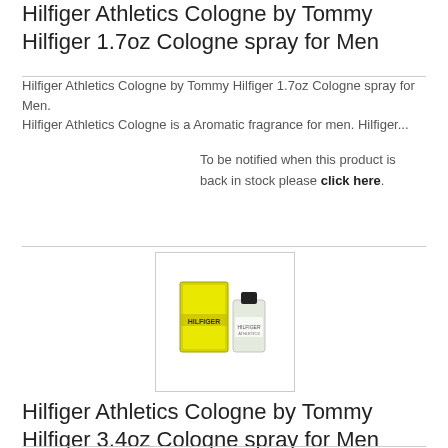Hilfiger Athletics Cologne by Tommy Hilfiger 1.7oz Cologne spray for Men
Hilfiger Athletics Cologne by Tommy Hilfiger 1.7oz Cologne spray for Men. Hilfiger Athletics Cologne is a Aromatic fragrance for men. Hilfiger...
To be notified when this product is back in stock please click here.
[Figure (photo): Product photo of Hilfiger Athletics Cologne showing yellow box and glass bottle]
Hilfiger Athletics Cologne by Tommy Hilfiger 3.4oz Cologne spray for Men
Hilfiger Athletics Cologne by Tommy Hilfiger 3.4oz Cologne spray for Men.